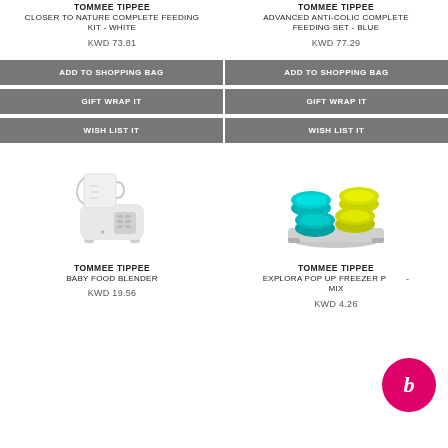TOMMEE TIPPEE
CLOSER TO NATURE COMPLETE FEEDING KIT - WHITE
KWD 73.81
TOMMEE TIPPEE
ADVANCED ANTI-COLIC COMPLETE FEEDING SET - BLUE
KWD 77.29
ADD TO SHOPPING BAG
ADD TO SHOPPING BAG
GIFT WRAP IT
GIFT WRAP IT
WISH LIST IT
WISH LIST IT
[Figure (photo): Tommee Tippee Baby Food Blender - white appliance]
[Figure (photo): Tommee Tippee Explora Pop Up Freezer Pots - colorful teal and yellow pots on a tray]
TOMMEE TIPPEE
BABY FOOD BLENDER
KWD 19.56
TOMMEE TIPPEE
EXPLORA POP UP FREEZER POTS - MIX
KWD 4.26